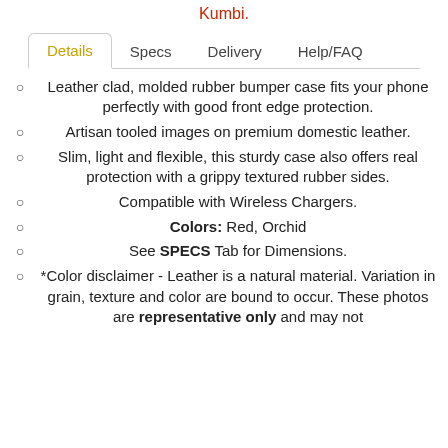Kumbi.
Details | Specs | Delivery | Help/FAQ
Leather clad, molded rubber bumper case fits your phone perfectly with good front edge protection.
Artisan tooled images on premium domestic leather.
Slim, light and flexible, this sturdy case also offers real protection with a grippy textured rubber sides.
Compatible with Wireless Chargers.
Colors: Red, Orchid
See SPECS Tab for Dimensions.
*Color disclaimer - Leather is a natural material. Variation in grain, texture and color are bound to occur. These photos are representative only and may not